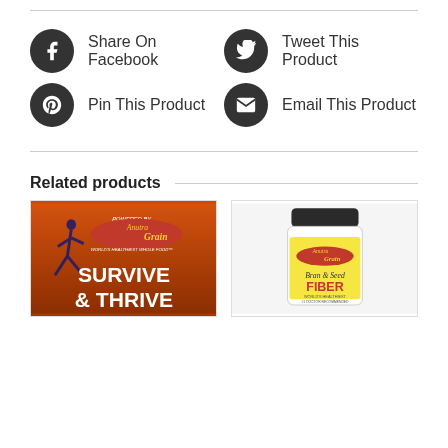Share On Facebook
Tweet This Product
Pin This Product
Email This Product
Related products
[Figure (photo): Book cover: Survive & Thrive powered by Anutra Grain]
[Figure (photo): Anutra Grain Bran & Seed Fiber product jar]